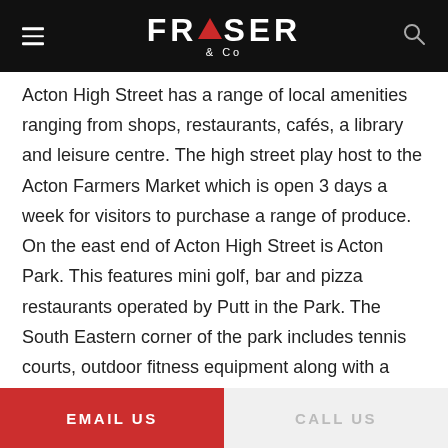FRASER & Co
Acton High Street has a range of local amenities ranging from shops, restaurants, cafés, a library and leisure centre. The high street play host to the Acton Farmers Market which is open 3 days a week for visitors to purchase a range of produce. On the east end of Acton High Street is Acton Park. This features mini golf, bar and pizza restaurants operated by Putt in the Park. The South Eastern corner of the park includes tennis courts, outdoor fitness equipment along with a multi-purpose basketball and football court. The park also features a large children's play area which includes an adventure playground.
EMAIL US    CALL US